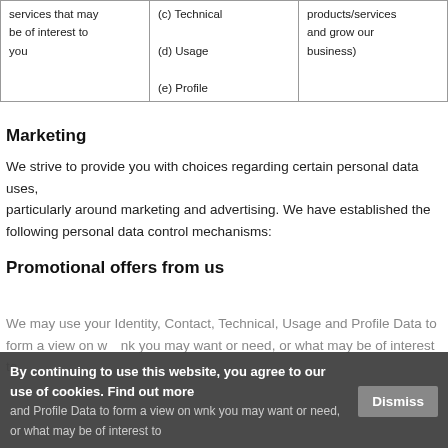|  |  |  |
| --- | --- | --- |
| services that may be of interest to you | (c) Technical
(d) Usage
(e) Profile | products/services and grow our business) |
Marketing
We strive to provide you with choices regarding certain personal data uses, particularly around marketing and advertising. We have established the following personal data control mechanisms:
Promotional offers from us
We may use your Identity, Contact, Technical, Usage and Profile Data to form a view on what we think you may want or need, or what may be of interest to you.